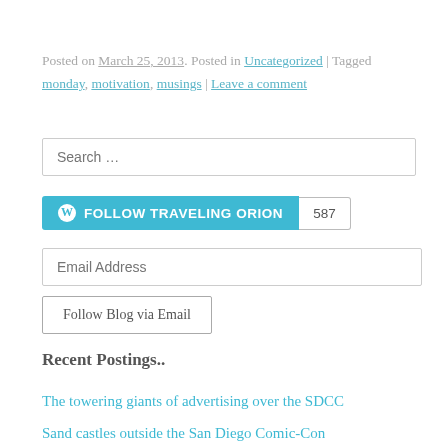Posted on March 25, 2013. Posted in Uncategorized | Tagged monday, motivation, musings | Leave a comment
[Figure (screenshot): Search input box with placeholder text 'Search ...']
[Figure (screenshot): WordPress Follow button for TRAVELING ORION with follower count 587]
[Figure (screenshot): Email Address input field]
[Figure (screenshot): Follow Blog via Email button]
Recent Postings..
The towering giants of advertising over the SDCC
Sand castles outside the San Diego Comic-Con
Just another never-to-be-forgotten summer…
The Magic of Fast Food Enchantment